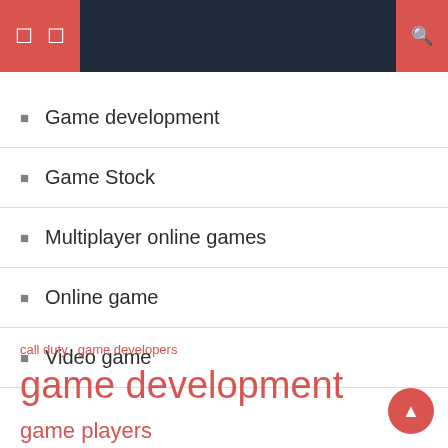Navigation header with icons
Game development
Game Stock
Multiplayer online games
Online game
Video game
call duty  game developers  game development  game players  gaming industry  multiplayer online  nintendo switch  online games  online gaming